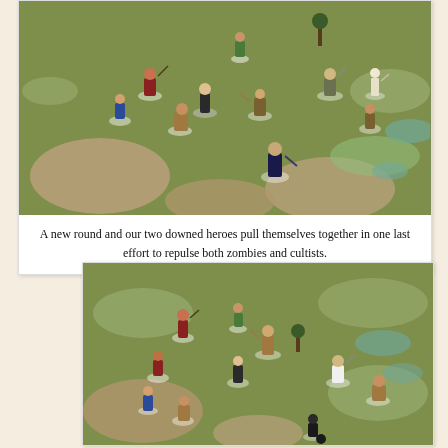[Figure (photo): Top-down view of tabletop wargame miniatures on a green grass mat with terrain patches. Multiple painted figures including heroes, zombies, and cultists on clear bases are positioned across the playing field.]
A new round and our two downed heroes pull themselves together in one last effort to repulse both zombies and cultists.
[Figure (photo): Second top-down view of the same tabletop wargame, showing continued combat between painted miniature figures representing heroes, zombies, and cultists on a green grass terrain mat with scattered terrain pieces.]